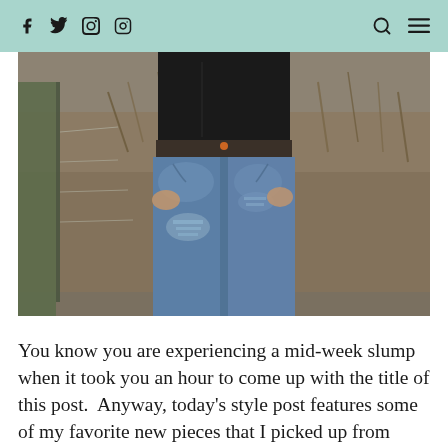f  twitter  pinterest  instagram  [search] [menu]
[Figure (photo): Person wearing distressed blue jeans and a black top, standing in front of a wire fence with bare brush in the background outdoors.]
You know you are experiencing a mid-week slump when it took you an hour to come up with the title of this post.  Anyway, today’s style post features some of my favorite new pieces that I picked up from Zara a while back when they…